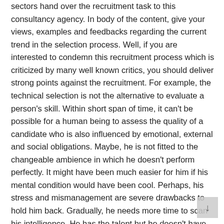sectors hand over the recruitment task to this consultancy agency. In body of the content, give your views, examples and feedbacks regarding the current trend in the selection process. Well, if you are interested to condemn this recruitment process which is criticized by many well known critics, you should deliver strong points against the recruitment. For example, the technical selection is not the alternative to evaluate a person's skill. Within short span of time, it can't be possible for a human being to assess the quality of a candidate who is also influenced by emotional, external and social obligations. Maybe, he is not fitted to the changeable ambience in which he doesn't perform perfectly. It might have been much easier for him if his mental condition would have been cool. Perhaps, his stress and mismanagement are severe drawbacks to hold him back. Gradually, he needs more time to scan his intelligence. He has the talent but he doesn't have the opportunity to utilize his efficiency in reality. There are a lot of examples which support your negative views about the significance of skill test. Eventually, you have reached the last stage of your academic write up to conclude your statement. You must clarify the